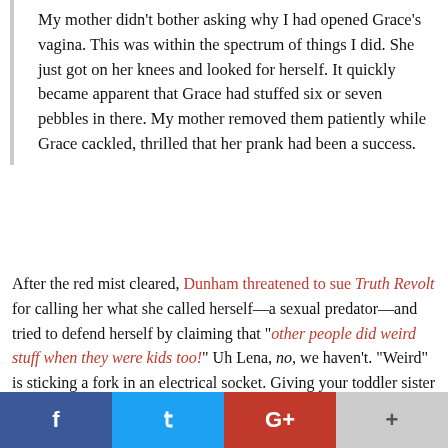My mother didn't bother asking why I had opened Grace's vagina. This was within the spectrum of things I did. She just got on her knees and looked for herself. It quickly became apparent that Grace had stuffed six or seven pebbles in there. My mother removed them patiently while Grace cackled, thrilled that her prank had been a success.
After the red mist cleared, Dunham threatened to sue Truth Revolt for calling her what she called herself—a sexual predator—and tried to defend herself by claiming that "other people did weird stuff when they were kids too!" Uh Lena, no, we haven't. "Weird" is sticking a fork in an electrical socket. Giving your toddler sister a gynecological exam then bragging about it in a book is sick.
[Figure (other): Social sharing bar with Facebook, Twitter, Google+, and more buttons]